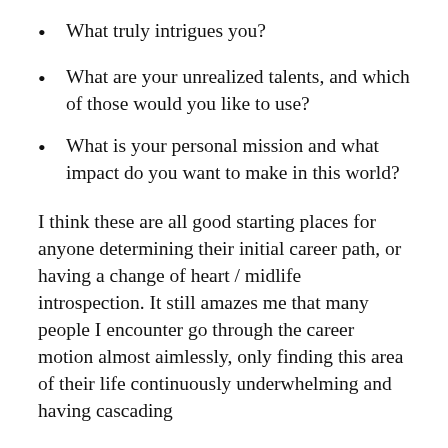What truly intrigues you?
What are your unrealized talents, and which of those would you like to use?
What is your personal mission and what impact do you want to make in this world?
I think these are all good starting places for anyone determining their initial career path, or having a change of heart / midlife introspection. It still amazes me that many people I encounter go through the career motion almost aimlessly, only finding this area of their life continuously underwhelming and having cascading